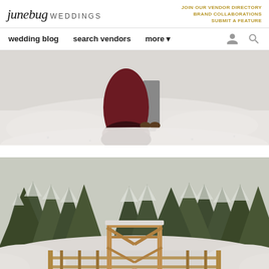junebug WEDDINGS | JOIN OUR VENDOR DIRECTORY | BRAND COLLABORATIONS | SUBMIT A FEATURE
wedding blog   search vendors   more
[Figure (photo): Couple walking away in snow, woman in dark red/maroon gown with black lace hem, man in gray suit, viewed from behind on a snowy landscape]
[Figure (photo): Winter wedding ceremony on a wooden bridge/platform with geometric wooden arch, surrounded by snow-covered evergreen trees, wedding party gathered around couple]